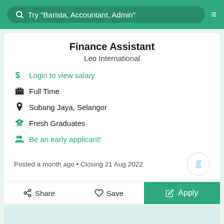Try "Barista, Accountant, Admin"
Finance Assistant
Leo International
Login to view salary
Full Time
Subang Jaya, Selangor
Fresh Graduates
Be an early applicant!
Posted a month ago • Closing 21 Aug 2022
Share  Save  Apply
Share  Save  Apply